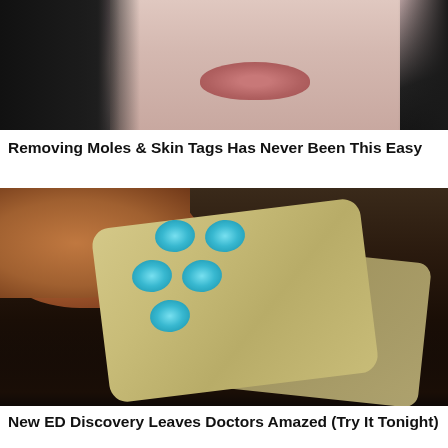[Figure (photo): Close-up photo of a woman's face near her mouth and lips with dark hair, holding a white strip, suggesting a skincare/mole removal product.]
Removing Moles & Skin Tags Has Never Been This Easy
[Figure (photo): Photo of a hand holding a blister pack of blue diamond-shaped pills (generic Viagra/ED medication), with a second pack visible in the background.]
New ED Discovery Leaves Doctors Amazed (Try It Tonight)